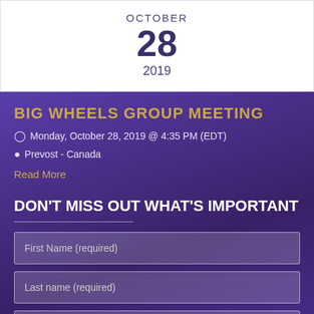OCTOBER
28
2019
BIG WHEELS GROUP MEETING
Monday, October 28, 2019 @ 4:35 PM (EDT)
Prevost - Canada
Read More
DON'T MISS OUT WHAT'S IMPORTANT
First Name (required)
Last name (required)
Email (required)